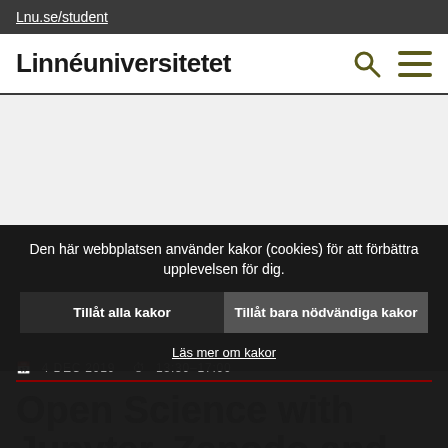Lnu.se/student
Linnéuniversitetet
[Figure (screenshot): Empty hero/banner image area in light gray]
Den här webbplatsen använder kakor (cookies) för att förbättra upplevelsen för dig.
Tillåt alla kakor
Tillåt bara nödvändiga kakor
Läs mer om kakor
4 DEC 2019   13:30–17:00
Open Science with Jupyter, Zenodo and